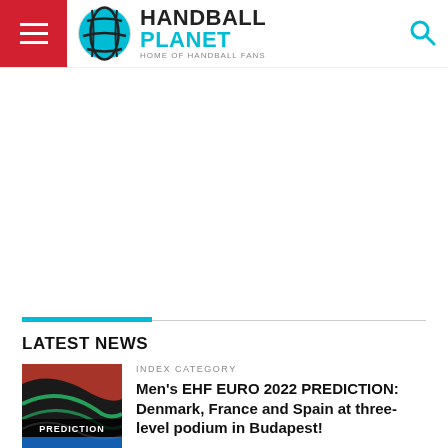Handball Planet — Home of Handball Fans
[Figure (other): Advertisement/blank area in the middle of the page]
LATEST NEWS
[Figure (photo): Thumbnail image for handball prediction article showing handball and flag colors with PREDICTION label overlay]
INDEX CATEGORY
Men's EHF EURO 2022 PREDICTION: Denmark, France and Spain at three-level podium in Budapest!